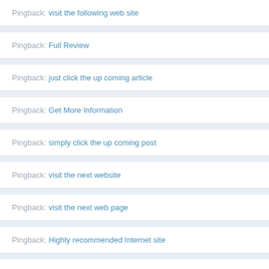Pingback: visit the following web site
Pingback: Full Review
Pingback: just click the up coming article
Pingback: Get More Information
Pingback: simply click the up coming post
Pingback: visit the next website
Pingback: visit the next web page
Pingback: Highly recommended Internet site
Pingback: Suggested Internet site